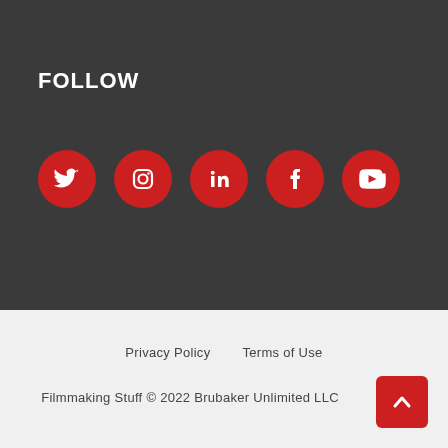FOLLOW
[Figure (illustration): Five red circular social media icons in a row: Twitter, Instagram, LinkedIn, Facebook, YouTube]
Privacy Policy    Terms of Use
Filmmaking Stuff © 2022 Brubaker Unlimited LLC
[Figure (other): Red back-to-top button with up arrow chevron]